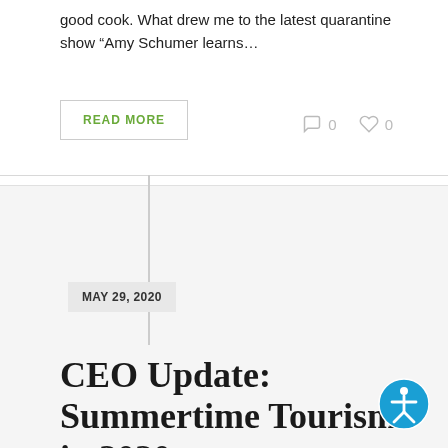good cook. What drew me to the latest quarantine show “Amy Schumer learns…
READ MORE
0  0
MAY 29, 2020
CEO Update: Summertime Tourism in 2020